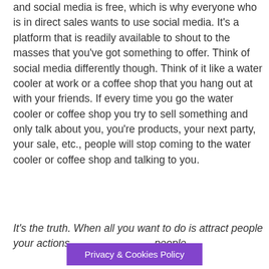I understand that direct sales can be competitive and social media is free, which is why everyone who is in direct sales wants to use social media. It's a platform that is readily available to shout to the masses that you've got something to offer. Think of social media differently though. Think of it like a water cooler at work or a coffee shop that you hang out at with your friends. If every time you go the water cooler or coffee shop you try to sell something and only talk about you, you're products, your next party, your sale, etc., people will stop coming to the water cooler or coffee shop and talking to you.
It's the truth. When all you want to do is attract people your actions people